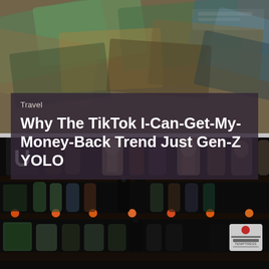[Figure (photo): Blurred overhead photo of colorful international currency banknotes spread out on a surface, serving as background for the article header]
Travel
Why The TikTok I-Can-Get-My-Money-Back Trend Just Gen-Z YOLO
[Figure (photo): Dimly lit bar shelf filled with various bottles of liquor and beer, with colorful labels, arranged on multiple shelves with orange circular bottle caps visible in the middle row]